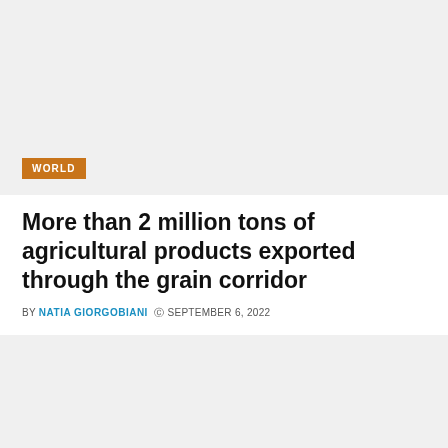[Figure (photo): Top image placeholder block, light gray background with a WORLD category tag overlay]
More than 2 million tons of agricultural products exported through the grain corridor
BY NATIA GIORGOBIANI  © SEPTEMBER 6, 2022
[Figure (photo): Bottom image placeholder block, light gray background]